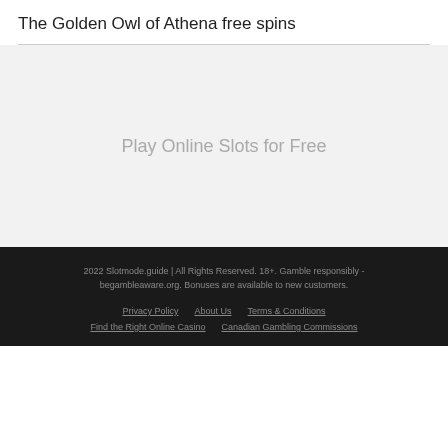The Golden Owl of Athena free spins
[Figure (other): Embedded slot game iframe area with light gray background and centered placeholder text 'Play Online Slots for Free']
2022 Slotmode.guide | All Rights Reserved. 18+. Gamble responsibly - begambleaware.org. Bonuses are available to new customers.
Privacy Policy   About Us   Terms & Conditions
Find the Right Online Casino   Canadian Gambling Commissions